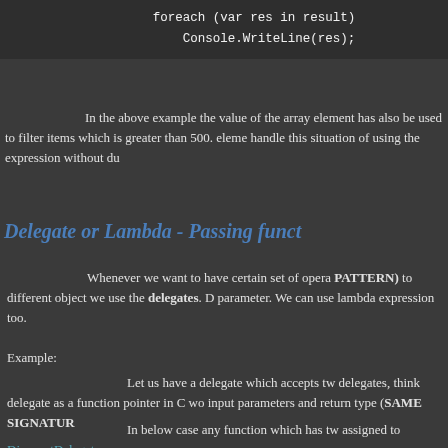foreach (var res in result)
            Console.WriteLine(res);
In the above example the value of the array element has also be used to filter items which is greater than 500. eleme handle this situation of using the expression without du
Delegate or Lambda - Passing funct
Whenever we want to have certain set of opera PATTERN) to different object we use the delegates. D parameter. We can use lambda expression too.
Example:
Let us have a delegate which accepts tw delegates, think delegate as a function pointer in C wo input parameters and return type (SAME SIGNATUR
In below case any function which has tw assigned to DiscountDelegate.